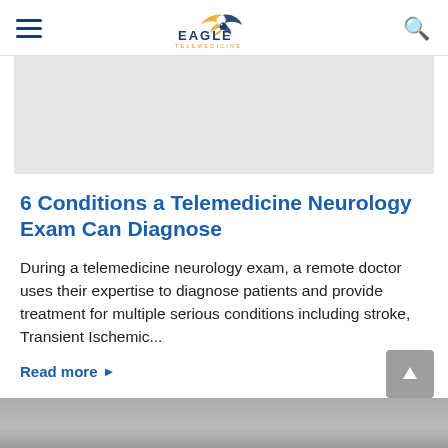Eagle Telemedicine
[Figure (illustration): Gray banner placeholder area above the article]
6 Conditions a Telemedicine Neurology Exam Can Diagnose
During a telemedicine neurology exam, a remote doctor uses their expertise to diagnose patients and provide treatment for multiple serious conditions including stroke, Transient Ischemic...
Read more ▶
[Figure (photo): Bottom partial photo of a person, likely a doctor or medical professional]